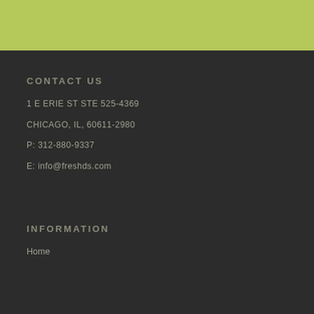[Figure (other): Yellow-green decorative header bar]
CONTACT US
1 E ERIE ST STE 525-4369
CHICAGO, IL, 60611-2980
P: 312-880-9337
E: info@freshds.com
INFORMATION
Home